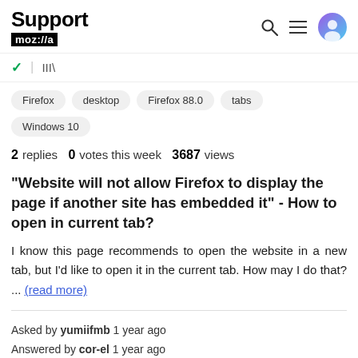Support moz://a
✓ | IIIV
Firefox
desktop
Firefox 88.0
tabs
Windows 10
2 replies  0 votes this week  3687 views
"Website will not allow Firefox to display the page if another site has embedded it" - How to open in current tab?
I know this page recommends to open the website in a new tab, but I'd like to open it in the current tab. How may I do that? ... (read more)
Asked by yumiifmb 1 year ago
Answered by cor-el 1 year ago